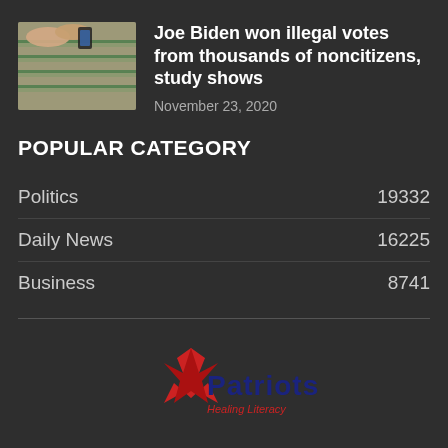[Figure (photo): Thumbnail image of ballot papers on a table with hands visible]
Joe Biden won illegal votes from thousands of noncitizens, study shows
November 23, 2020
POPULAR CATEGORY
Politics 19332
Daily News 16225
Business 8741
[Figure (logo): Patriots logo with red star and blue text reading 'Patriots' and tagline 'Healing Literacy']